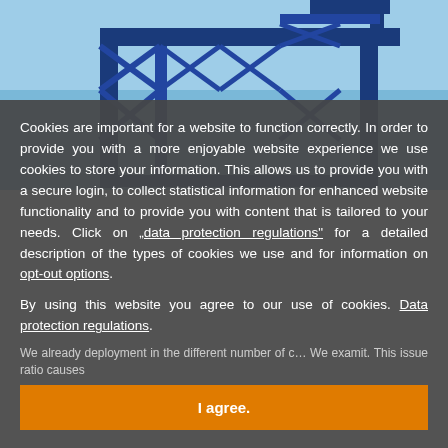[Figure (photo): Industrial crane structure with blue metal framework against a clear blue sky]
Cookies are important for a website to function correctly. In order to provide you with a more enjoyable website experience we use cookies to store your information. This allows us to provide you with a secure login, to collect statistical information for enhanced website functionality and to provide you with content that is tailored to your needs. Click on ‚data protection regulations“ for a detailed description of the types of cookies we use and for information on opt-out options.
By using this website you agree to our use of cookies. Data protection regulations.
I agree.